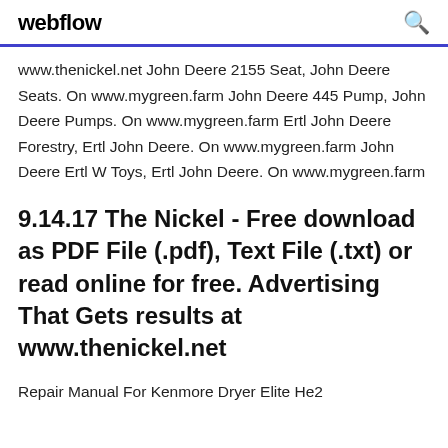webflow
www.thenickel.net John Deere 2155 Seat, John Deere Seats. On www.mygreen.farm John Deere 445 Pump, John Deere Pumps. On www.mygreen.farm Ertl John Deere Forestry, Ertl John Deere. On www.mygreen.farm John Deere Ertl W Toys, Ertl John Deere. On www.mygreen.farm
9.14.17 The Nickel - Free download as PDF File (.pdf), Text File (.txt) or read online for free. Advertising That Gets results at www.thenickel.net
Repair Manual For Kenmore Dryer Elite He2